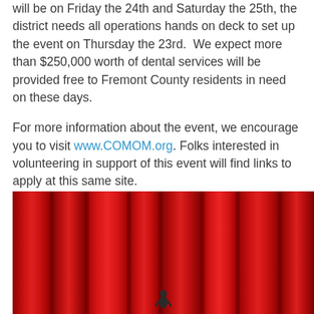will be on Friday the 24th and Saturday the 25th, the district needs all operations hands on deck to set up the event on Thursday the 23rd.  We expect more than $250,000 worth of dental services will be provided free to Fremont County residents in need on these days.
For more information about the event, we encourage you to visit www.COMOM.org. Folks interested in volunteering in support of this event will find links to apply at this same site.
[Figure (photo): Photo of a person standing in front of large red curtains/drapes on a stage, viewed from below showing mostly the red fabric folds and a small figure at the bottom center.]